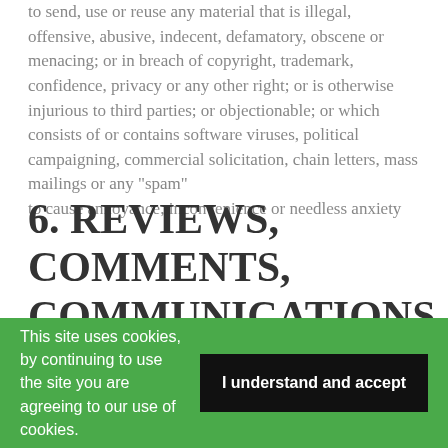to send, use or reuse any material that is illegal, offensive, abusive, indecent, defamatory, obscene or menacing; or in breach of copyright, trademark, confidence, privacy or any other right; or is otherwise injurious to third parties; or objectionable; or which consists of or contains software viruses, political campaigning, commercial solicitation, chain letters, mass mailings or any "spam"
to cause annoyance, inconvenience or needless anxiety
6. REVIEWS, COMMENTS, COMMUNICATIONS AND OTHER CONTENT
Users of this website may post reviews, comments and other content; send communications; and submit suggestions, ideas, comments, questions, or other information, as long as the content is not unlawful,
This site uses cookies, by continuing to use the site you are agreeing to our use of cookies.
I understand and accept